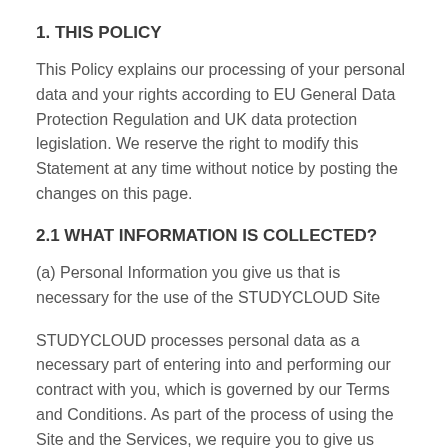1. THIS POLICY
This Policy explains our processing of your personal data and your rights according to EU General Data Protection Regulation and UK data protection legislation. We reserve the right to modify this Statement at any time without notice by posting the changes on this page.
2.1 WHAT INFORMATION IS COLLECTED?
(a) Personal Information you give us that is necessary for the use of the STUDYCLOUD Site
STUDYCLOUD processes personal data as a necessary part of entering into and performing our contract with you, which is governed by our Terms and Conditions. As part of the process of using the Site and the Services, we require you to give us certain Personal Information which we need to